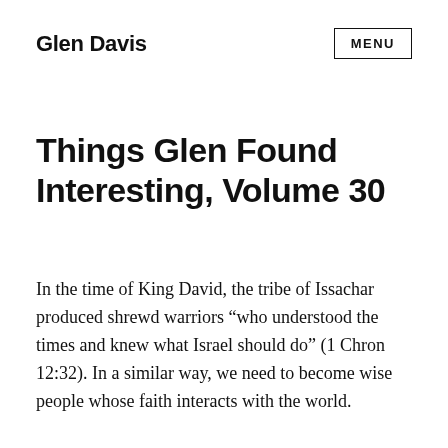Glen Davis   MENU
Things Glen Found Interesting, Volume 30
In the time of King David, the tribe of Issachar produced shrewd warriors “who understood the times and knew what Israel should do” (1 Chron 12:32). In a similar way, we need to become wise people whose faith interacts with the world.